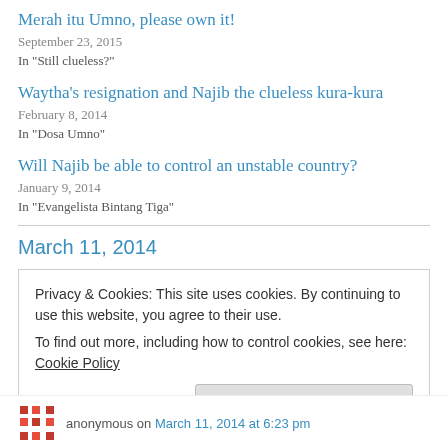Merah itu Umno, please own it!
September 23, 2015
In "Still clueless?"
Waytha's resignation and Najib the clueless kura-kura
February 8, 2014
In "Dosa Umno"
Will Najib be able to control an unstable country?
January 9, 2014
In "Evangelista Bintang Tiga"
March 11, 2014
Privacy & Cookies: This site uses cookies. By continuing to use this website, you agree to their use.
To find out more, including how to control cookies, see here: Cookie Policy
Close and accept
anonymous on March 11, 2014 at 6:23 pm